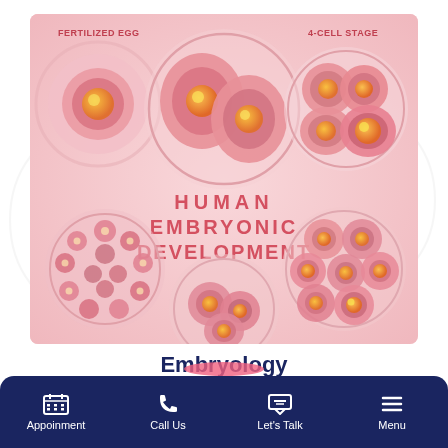[Figure (illustration): Scientific illustration of human embryonic development stages showing: Fertilized Egg (single cell with nucleus), 2-cell stage, 4-Cell Stage (cluster of 4 cells), morula (dark compact cluster, bottom left), blastocyst partial (bottom center), and 8-cell stage (bottom right). All depicted as circular cross-sections on a pink gradient background. Center text reads 'HUMAN EMBRYONIC DEVELOPMENT' in bold pink/red letters.]
Embryology
Embryology addresses the conception, initial development and production of embryos.
Appoinment | Call Us | Let's Talk | Menu